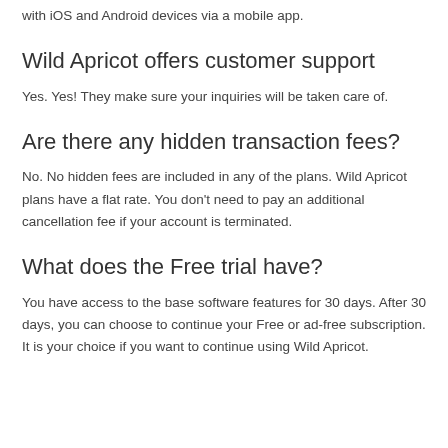with iOS and Android devices via a mobile app.
Wild Apricot offers customer support
Yes. Yes! They make sure your inquiries will be taken care of.
Are there any hidden transaction fees?
No. No hidden fees are included in any of the plans. Wild Apricot plans have a flat rate. You don't need to pay an additional cancellation fee if your account is terminated.
What does the Free trial have?
You have access to the base software features for 30 days. After 30 days, you can choose to continue your Free or ad-free subscription. It is your choice if you want to continue using Wild Apricot.